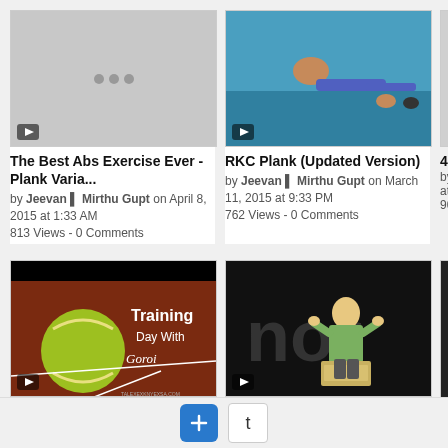[Figure (screenshot): Video thumbnail for The Best Abs Exercise Ever - Plank Varia, gray placeholder with dots]
The Best Abs Exercise Ever - Plank Varia...
by Jeevan ▌ Mirthu Gupt on April 8, 2015 at 1:33 AM
813 Views - 0 Comments
[Figure (screenshot): Video thumbnail for RKC Plank (Updated Version), woman doing plank on blue mat]
RKC Plank (Updated Version)
by Jeevan ▌ Mirthu Gupt on March 11, 2015 at 9:33 PM
762 Views - 0 Comments
[Figure (screenshot): Video thumbnail for Dominika Cibulkova: My Training Day In M, tennis ball with text Training Day With Goroi]
Dominika Cibulkova: My Training Day In M...
by Jeevan ▌ Mirthu Gupt on December 28,
[Figure (screenshot): Video thumbnail for Forget Big Change, Start With A Tiny Hab, man speaking on dark stage]
Forget Big Change, Start With A Tiny Hab...
by Jeevan ▌ Mirthu Gupt on December 15,